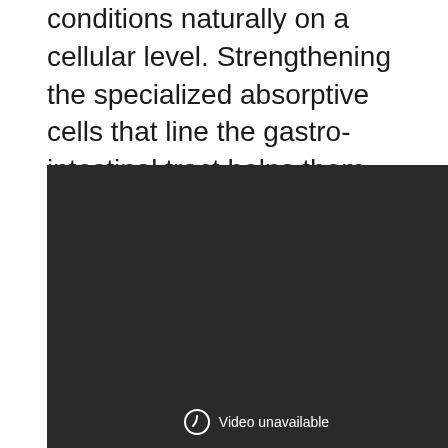conditions naturally on a cellular level. Strengthening the specialized absorptive cells that line the gastro-intestinal tract helps them absorb more of the key vitamins/nutrients from the feed/supplements provided to your horse.
[Figure (other): Dark/black video player area showing 'Video unavailable' message with a circular icon at the bottom center.]